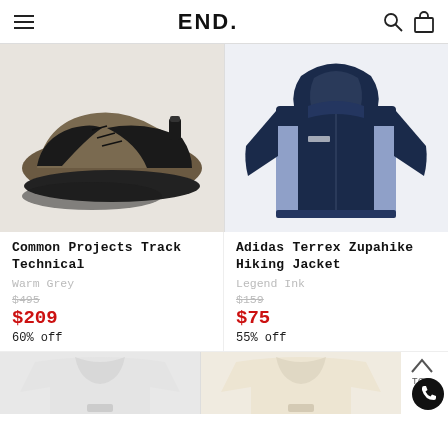END.
[Figure (photo): Common Projects Track Technical sneaker in warm grey and black]
Common Projects Track Technical
Warm Grey
$495
$209
60% off
[Figure (photo): Adidas Terrex Zupahike Hiking Jacket in Legend Ink navy blue and light blue]
Adidas Terrex Zupahike Hiking Jacket
Legend Ink
$159
$75
55% off
[Figure (photo): White t-shirt partially visible at bottom left]
[Figure (photo): Cream/off-white t-shirt partially visible at bottom right]